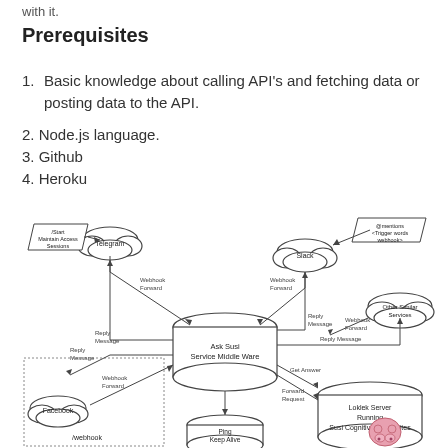with it.
Prerequisites
1. Basic knowledge about calling API's and fetching data or posting data to the API.
2. Node.js language.
3. Github
4. Heroku
[Figure (flowchart): Flowchart showing Ask Susi Service Middle Ware connected to Telegram, Slack, Facebook, and other similar services via Webhook Forward and Reply Message arrows. Also shows Loklek Server Running Susi Cognitive Capabilities with Get Answer and Forward Request arrows, and a Ping Keep Alive connection.]